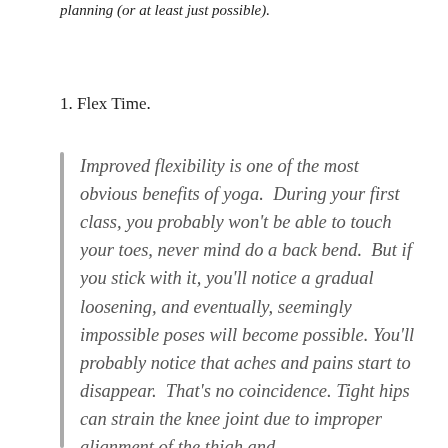planning (or at least just possible).
1. Flex Time.
Improved flexibility is one of the most obvious benefits of yoga.  During your first class, you probably won't be able to touch your toes, never mind do a back bend.  But if you stick with it, you'll notice a gradual loosening, and eventually, seemingly impossible poses will become possible.  You'll probably notice that aches and pains start to disappear.  That's no coincidence.  Tight hips can strain the knee joint due to improper alignment of the thigh and